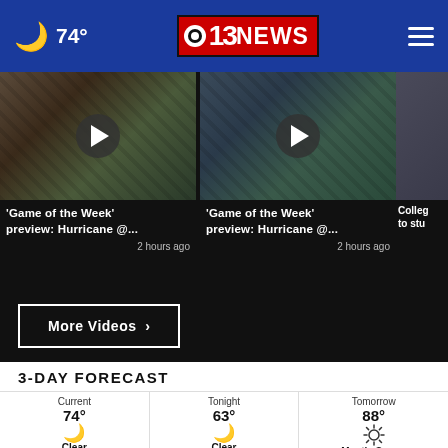74° — CBS 13 NEWS header navigation
[Figure (screenshot): Video thumbnail: 'Game of the Week' preview: Hurricane @... — 2 hours ago]
[Figure (screenshot): Video thumbnail: 'Game of the Week' preview: Hurricane @... — 2 hours ago]
[Figure (screenshot): Video thumbnail: College [partial] to stu[partial]]
More Videos ›
3-DAY FORECAST
| Current | Tonight | Tomorrow |
| --- | --- | --- |
| 74° | 63° | 88° |
| Clear | Clear | Mostly Sunny |
|  | Precip: 9% | Precip: 9% |